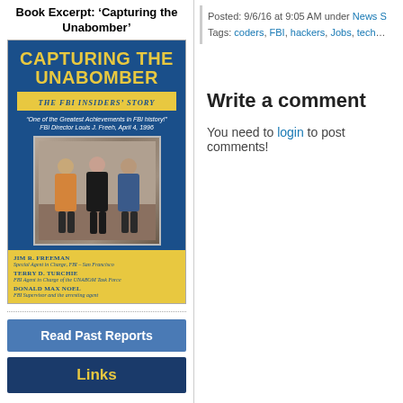Book Excerpt: ‘Capturing the Unabomber’
[Figure (illustration): Book cover of 'Capturing the Unabomber: The FBI Insiders' Story' with blue background, yellow title text, a yellow band subtitle, a quote from FBI Director Louis J. Freeh, a photograph of three people, and yellow bottom section listing three authors: Jim R. Freeman, Terry D. Turchie, Donald Max Noel.]
Posted: 9/6/16 at 9:05 AM under News S
Tags: coders, FBI, hackers, Jobs, tech…
Write a comment
You need to login to post comments!
Read Past Reports
Links